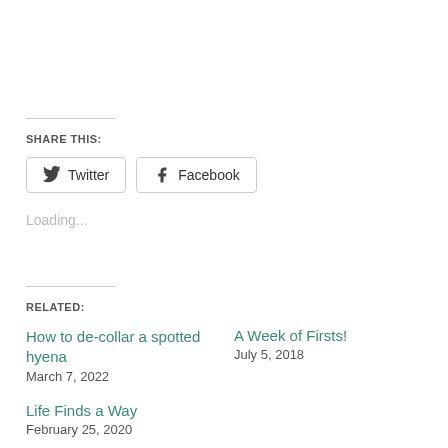SHARE THIS:
Twitter  Facebook
Loading...
RELATED:
How to de-collar a spotted hyena
March 7, 2022
A Week of Firsts!
July 5, 2018
Life Finds a Way
February 25, 2020